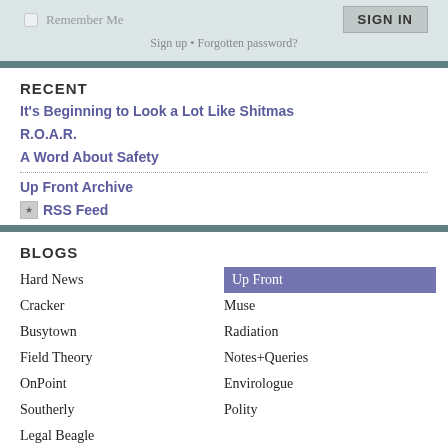Remember Me  SIGN IN  Sign up • Forgotten password?
RECENT
It's Beginning to Look a Lot Like Shitmas
R.O.A.R.
A Word About Safety
Up Front Archive
RSS Feed
BLOGS
Hard News
Up Front
Cracker
Muse
Busytown
Radiation
Field Theory
Notes+Queries
OnPoint
Envirologue
Southerly
Polity
Legal Beagle
Speaker
Capture
Feed
Access